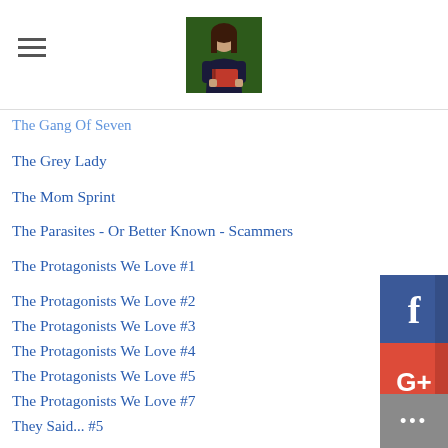Navigation header with hamburger menu and profile photo
The Gang Of Seven
The Grey Lady
The Mom Sprint
The Parasites - Or Better Known - Scammers
The Protagonists We Love #1
The Protagonists We Love #2
The Protagonists We Love #3
The Protagonists We Love #4
The Protagonists We Love #5
The Protagonists We Love #7
The Protagonists We Love #8
The Thief Of The Night
The Vigilante Witch
They Said... #1
They Said... #2
They Said... #3
They Said... #4
They Said... #5
[Figure (infographic): Social sharing sidebar with Facebook, Google+, Twitter, Pinterest, Blogger, and more buttons]